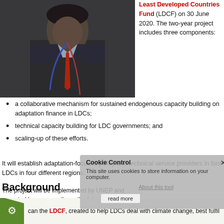[Figure (photo): Man in suit with lanyard at an event]
Least Developed Countries Fund (LDCF) on 30 June 2020. The two-year project includes three components:
a collaborative mechanism for sustained endogenous capacity building on adaptation finance in LDCs;
technical capacity building for LDC governments; and
scaling-up of these efforts.
It will establish adaptation-focused policy and technical service providers in four LDCs in four different regions.
The project will be implemented by UNEP and executed by, among others, the International Centre for Climate Change and Development (ICCCAD) in Dhaka, Bangladesh under Dr Saleemul Huq, ICCCAD Director and former Head of the ecbi Workshop Programme.
Background
can the LDCF, created to help LDCs deal with climate change, best fulfil